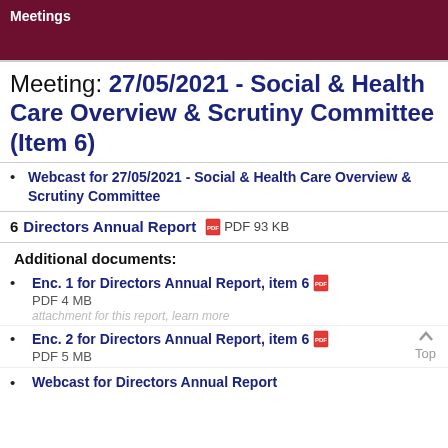Meetings
Meeting: 27/05/2021 - Social & Health Care Overview & Scrutiny Committee (Item 6)
Webcast for 27/05/2021 - Social & Health Care Overview & Scrutiny Committee
6 Directors Annual Report  PDF 93 KB
Additional documents:
Enc. 1 for Directors Annual Report, item 6  PDF 4 MB
Enc. 2 for Directors Annual Report, item 6  PDF 5 MB
Webcast for Directors Annual Report